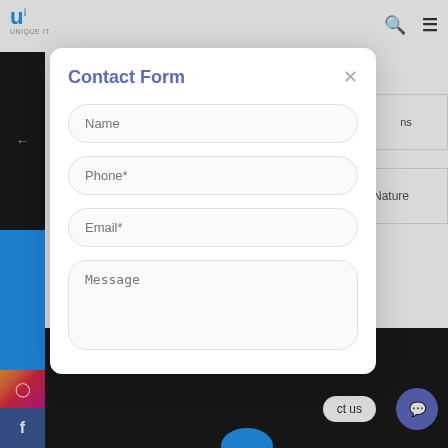[Figure (screenshot): Website contact form modal overlay on a webpage with navigation bar, left sidebar with Contact Us label and social icons (Instagram, Facebook), and background content showing partial text 'ns' and 'Nature'. A white modal dialog titled 'Contact Form' contains input fields for Name, Phone*, Email*, and Message, with a close (×) button. Bottom right shows a chat bubble icon and 'ct us' text button. A blue circle appears at the bottom center.]